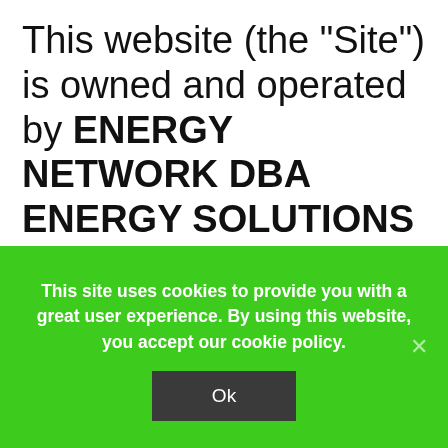This website (the "Site") is owned and operated by ENERGY NETWORK DBA ENERGY SOLUTIONS NETWORK, LLC ("ENERGY NETWORK" "we" or "us"). By using the Site, you agree to be bound by these Terms of Service and to use the Site in
This site uses cookies to provide you with a great user experience. By using this website, you accept our cookie policy.